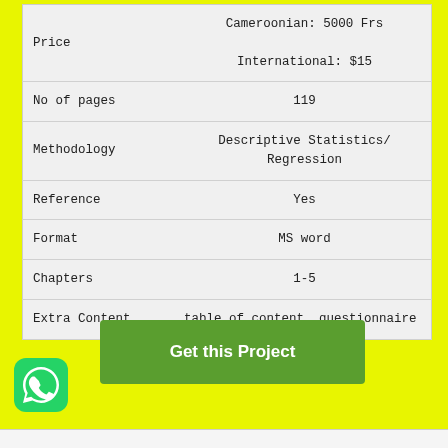|  |  |
| --- | --- |
| Price | Cameroonian: 5000 Frs
International: $15 |
| No of pages | 119 |
| Methodology | Descriptive Statistics/ Regression |
| Reference | Yes |
| Format | MS word |
| Chapters | 1-5 |
| Extra Content | table of content, questionnaire |
Get this Project
[Figure (logo): WhatsApp icon - green rounded square with white phone handset]